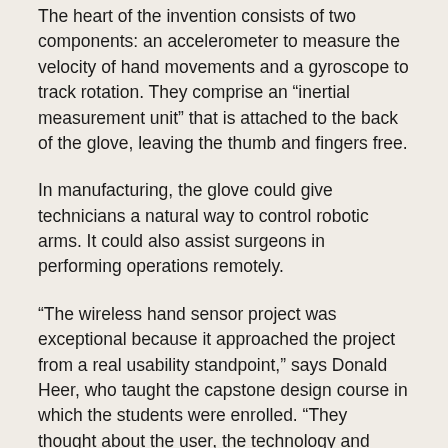The heart of the invention consists of two components: an accelerometer to measure the velocity of hand movements and a gyroscope to track rotation. They comprise an “inertial measurement unit” that is attached to the back of the glove, leaving the thumb and fingers free.
In manufacturing, the glove could give technicians a natural way to control robotic arms. It could also assist surgeons in performing operations remotely.
“The wireless hand sensor project was exceptional because it approached the project from a real usability standpoint,” says Donald Heer, who taught the capstone design course in which the students were enrolled. “They thought about the user, the technology and marketability. This very broad approach really let them shine as one of the best examples of Electrical and Computer Engineering senior design.”
For the time being, further development has taken a back